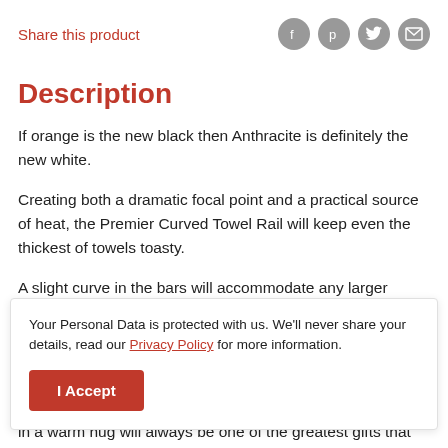Share this product
[Figure (infographic): Social share icons: Facebook, Pinterest, Twitter, Email — grey circles with white icons]
Description
If orange is the new black then Anthracite is definitely the new white.
Creating both a dramatic focal point and a practical source of heat, the Premier Curved Towel Rail will keep even the thickest of towels toasty.
A slight curve in the bars will accommodate any larger
Your Personal Data is protected with us. We'll never share your details, read our Privacy Policy for more information.
in a warm hug will always be one of the greatest gifts that